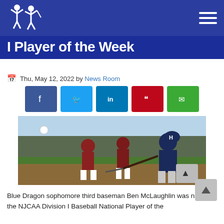I Player of the Week
Thu, May 12, 2022 by News Room
[Figure (photo): A baseball player in a navy uniform with H on helmet swinging a bat at a pitch, with players in maroon/white uniforms visible in the background on a sunny day.]
Blue Dragon sophomore third baseman Ben McLaughlin was named the NJCAA Division I Baseball National Player of the